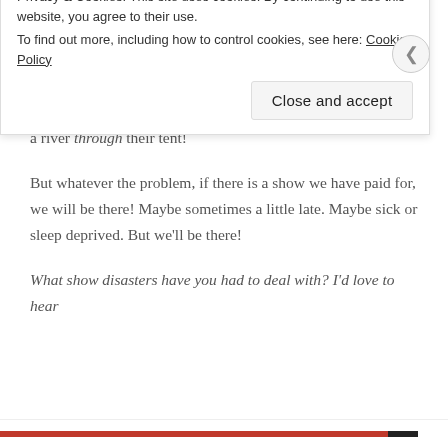wooden platform. Not setting up for an extended time without a platform again!
But if it's only a one weekend event, we have to rely on organizers for things like straw. Our poor neighbors once had a river through their tent!
But whatever the problem, if there is a show we have paid for, we will be there! Maybe sometimes a little late. Maybe sick or sleep deprived. But we'll be there!
What show disasters have you had to deal with? I'd love to hear
Privacy & Cookies: This site uses cookies. By continuing to use this website, you agree to their use.
To find out more, including how to control cookies, see here: Cookie Policy
Close and accept